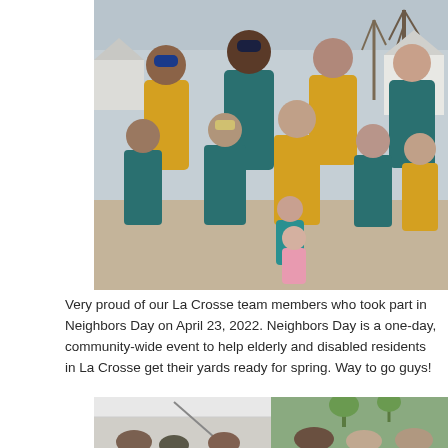[Figure (photo): Group photo of La Crosse team members wearing teal and yellow t-shirts with a logo, standing outdoors on a gravel area with bare trees and houses in the background. Adults and children of various ages are posing together.]
Very proud of our La Crosse team members who took part in Neighbors Day on April 23, 2022. Neighbors Day is a one-day, community-wide event to help elderly and disabled residents in La Crosse get their yards ready for spring. Way to go guys!
[Figure (photo): Partial view of another group photo, showing people gathered outdoors, partially cropped at the bottom of the page.]